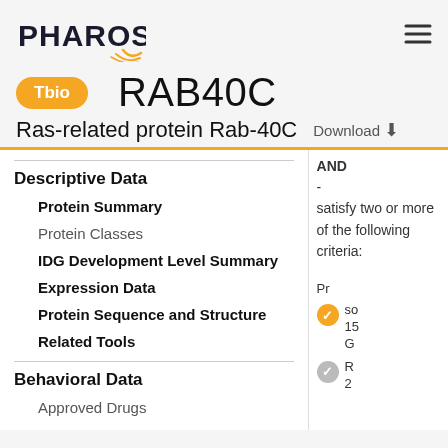PHAROS
RAB40C
Tbio
Ras-related protein Rab-40C  Download
Descriptive Data
Protein Summary
Protein Classes
IDG Development Level Summary
Expression Data
Protein Sequence and Structure
Related Tools
Behavioral Data
Approved Drugs
AND
-
satisfy two or more of the following criteria:
Pr
so 15 G R 2